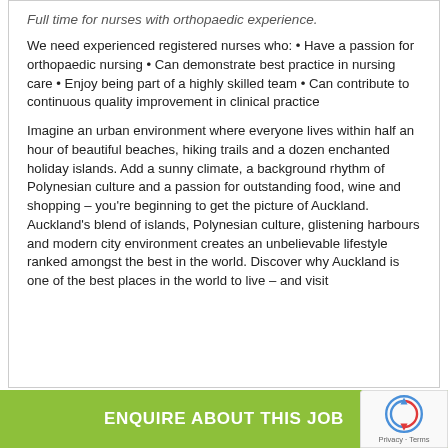Full time for nurses with orthopaedic experience.
We need experienced registered nurses who: • Have a passion for orthopaedic nursing • Can demonstrate best practice in nursing care • Enjoy being part of a highly skilled team • Can contribute to continuous quality improvement in clinical practice
Imagine an urban environment where everyone lives within half an hour of beautiful beaches, hiking trails and a dozen enchanted holiday islands. Add a sunny climate, a background rhythm of Polynesian culture and a passion for outstanding food, wine and shopping – you're beginning to get the picture of Auckland. Auckland's blend of islands, Polynesian culture, glistening harbours and modern city environment creates an unbelievable lifestyle ranked amongst the best in the world. Discover why Auckland is one of the best places in the world to live – and visit
ENQUIRE ABOUT THIS JOB